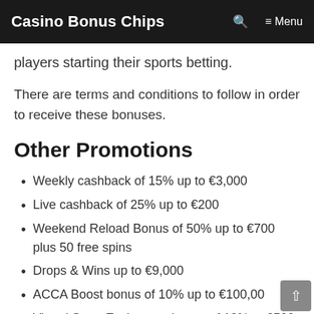Casino Bonus Chips
players starting their sports betting.
There are terms and conditions to follow in order to receive these bonuses.
Other Promotions
Weekly cashback of 15% up to €3,000
Live cashback of 25% up to €200
Weekend Reload Bonus of 50% up to €700 plus 50 free spins
Drops & Wins up to €9,000
ACCA Boost bonus of 10% up to €100,00
Virtual Sport Excitement bonus of 10% to €500